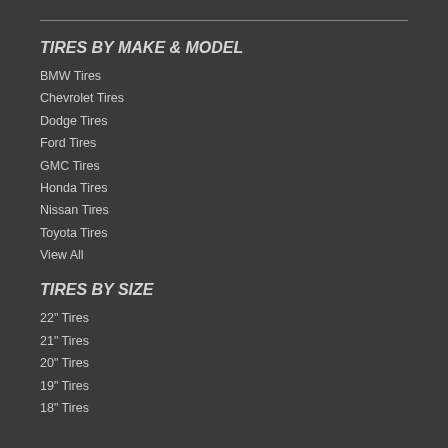TIRES BY MAKE & MODEL
BMW Tires
Chevrolet Tires
Dodge Tires
Ford Tires
GMC Tires
Honda Tires
Nissan Tires
Toyota Tires
View All
TIRES BY SIZE
22" Tires
21" Tires
20" Tires
19" Tires
18" Tires